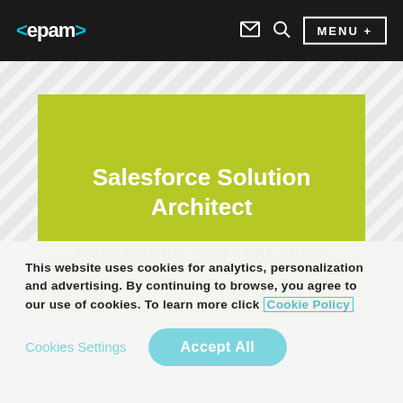<epam> MENU +
Salesforce Solution Architect
HOOFDDORP, NETHERLANDS
This website uses cookies for analytics, personalization and advertising. By continuing to browse, you agree to our use of cookies. To learn more click Cookie Policy
Cookies Settings  Accept All